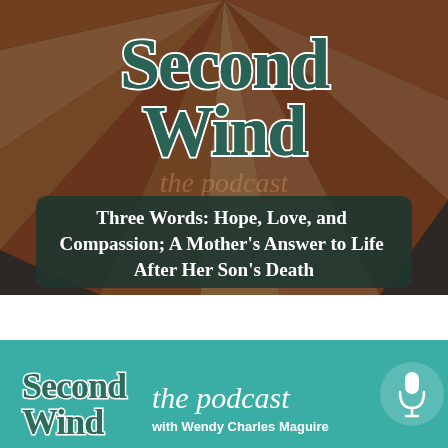[Figure (illustration): Second Wind the podcast cover art: retro-style logo with rays background showing 'Second Wind' in decorative curled lettering with teal/dark green color and white outline, over an orange/brown/tan sunray background. Episode title overlay reads 'Three Words: Hope, Love, and Compassion; A Mother's Answer to Life After Her Son's Death']
Three Words: Hope, Love, and Compassion; A Mother's Answer to Life After Her Son's Death
[Figure (logo): Second Wind the podcast logo on teal background with microphone icon. Text: 'Second Wind', 'the podcast', 'with Wendy Charles Maguire']